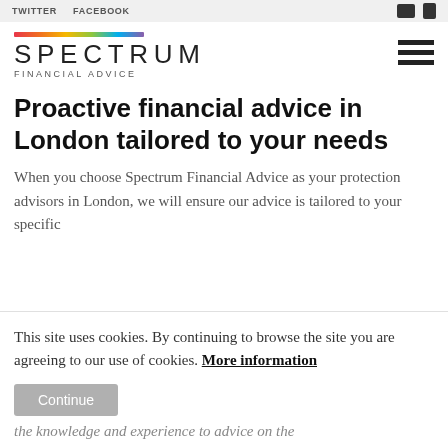TWITTER   FACEBOOK
[Figure (logo): Spectrum Financial Advice logo with rainbow gradient bar above the word SPECTRUM and subtitle FINANCIAL ADVICE]
Proactive financial advice in London tailored to your needs
When you choose Spectrum Financial Advice as your protection advisors in London, we will ensure our advice is tailored to your specific needs...
This site uses cookies. By continuing to browse the site you are agreeing to our use of cookies. More information
Continue
the knowledge and experience to advice on the